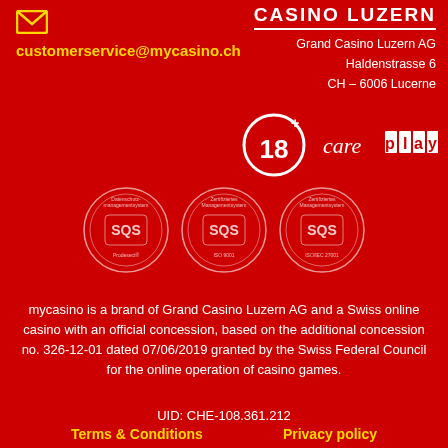[Figure (logo): Email envelope icon in yellow/gold]
customerservice@mycasino.ch
CASINO LUZERN
Grand Casino Luzern AG
Haldenstrasse 6
CH – 6006 Lucerne
[Figure (logo): 18+ age restriction badge (circle) and careplay logo]
[Figure (logo): Three SQS certification badges: Datenschutzmanagementsystem, Zertifiziertes Managementsystem ISO 9001, Zertifiziertes Managementsystem ISO/IEC 27001]
mycasino is a brand of Grand Casino Luzern AG and a Swiss online casino with an official concession, based on the additional concession no. 326-12-01 dated 07/06/2019 granted by the Swiss Federal Council for the online operation of casino games.
UID: CHE-108.361.212
Terms & Conditions
Privacy policy